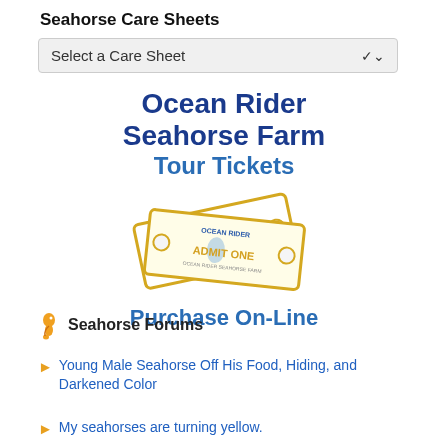Seahorse Care Sheets
Select a Care Sheet
[Figure (illustration): Ocean Rider Seahorse Farm Tour Tickets promotional graphic with text 'Ocean Rider Seahorse Farm Tour Tickets' and illustrated admit-one tickets, with text 'Purchase On-Line' below]
Seahorse Forums
Young Male Seahorse Off His Food, Hiding, and Darkened Color
My seahorses are turning yellow.